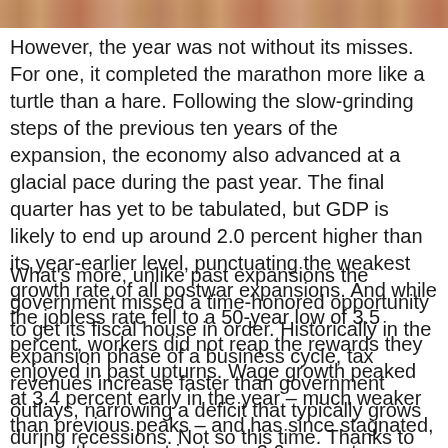[Figure (photo): Partial image strip at top of page, showing warm brown/orange tones, appears to be a cropped photograph.]
However, the year was not without its misses. For one, it completed the marathon more like a turtle than a hare. Following the slow-grinding steps of the previous ten years of the expansion, the economy also advanced at a glacial pace during the past year. The final quarter has yet to be tabulated, but GDP is likely to end up around 2.0 percent higher than its year-earlier level, punctuating the weakest growth rate of all postwar expansions. And while the jobless rate fell to a 50-year low of 3.5 percent, workers did not reap the rewards they enjoyed in past upturns. Wage growth peaked at 3.4 percent early in the year – much weaker than previous peaks – and has since stagnated, ending the year at just over 3.0 percent.
What's more, unlike past expansions the government missed a time-honored opportunity to get its fiscal house in order. Historically in the expansion phase of a business cycle, tax revenues increase faster than government outlays, narrowing a deficit that typically grows during recessions. Not so this time. Thanks to massive tax cuts and increased Federal spending aimed at jump-starting growth, the deficit ballooned towards $1 trillion in fiscal 2019 and is poised to exceed it in 2020 and for years, long after…